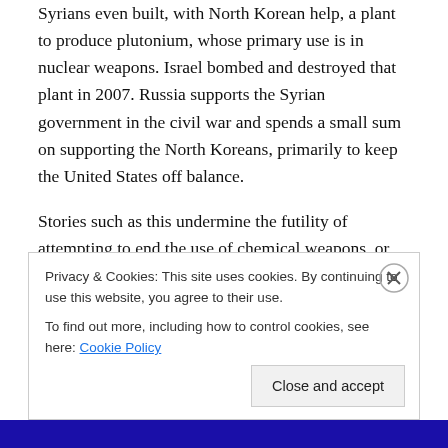Syrians even built, with North Korean help, a plant to produce plutonium, whose primary use is in nuclear weapons.  Israel bombed and destroyed that plant in 2007.  Russia supports the Syrian government in the civil war and spends a small sum on supporting the North Koreans, primarily to keep the United States off balance.
Stories such as this undermine the futility of attempting to end the use of chemical weapons, or the war on civilians generally.  The United Nations, the only world-wide organization with a mandate to end war, is hamstrung by a civil war that appears to represent the vendetta of a Syrian
Privacy & Cookies: This site uses cookies. By continuing to use this website, you agree to their use.
To find out more, including how to control cookies, see here: Cookie Policy
Close and accept